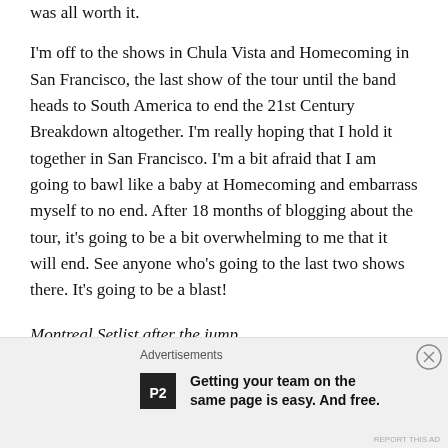was all worth it.
I'm off to the shows in Chula Vista and Homecoming in San Francisco, the last show of the tour until the band heads to South America to end the 21st Century Breakdown altogether. I'm really hoping that I hold it together in San Francisco. I'm a bit afraid that I am going to bawl like a baby at Homecoming and embarrass myself to no end. After 18 months of blogging about the tour, it's going to be a bit overwhelming to me that it will end. See anyone who's going to the last two shows there. It's going to be a blast!
Montreal Setlist after the jump…
Advertisements
[Figure (other): P2 advertisement logo with text: Getting your team on the same page is easy. And free.]